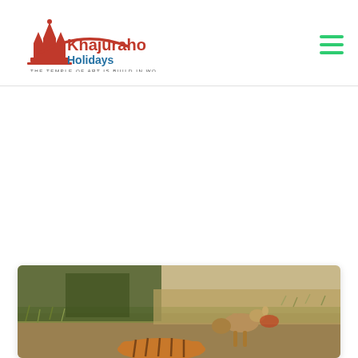Khajuraho Holidays — THE TEMPLE OF ART IS BUILD IN WORDS
[Figure (photo): Khajuraho Holidays website header with logo (red temple silhouette and blue 'Holidays' text, tagline 'THE TEMPLE OF ART IS BUILD IN WORDS') on the left and a green hamburger menu icon on the right.]
[Figure (photo): Wildlife photo showing tigers and other animals in a forest/grassland setting, partially cropped at the bottom of the page.]